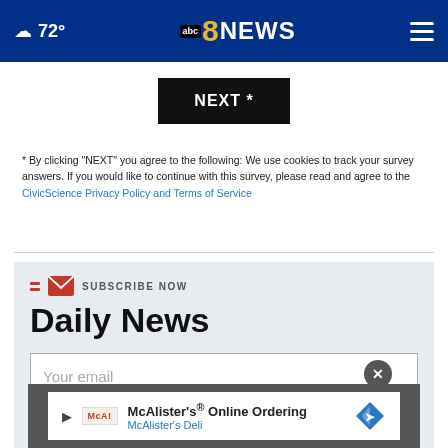☁ 72° | abc8NEWS
NEXT *
* By clicking "NEXT" you agree to the following: We use cookies to track your survey answers. If you would like to continue with this survey, please read and agree to the CivicScience Privacy Policy and Terms of Service
SUBSCRIBE NOW
Daily News
Your email
McAlister's® Online Ordering
McAlister's Deli